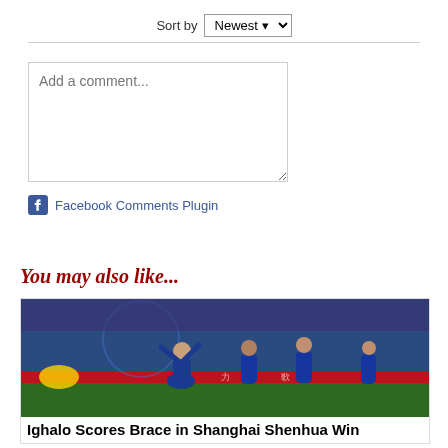Sort by Newest
Add a comment...
Facebook Comments Plugin
You may also like...
[Figure (photo): Soccer players in blue uniforms celebrating a goal on a stadium pitch]
Ighalo Scores Brace in Shanghai Shenhua Win